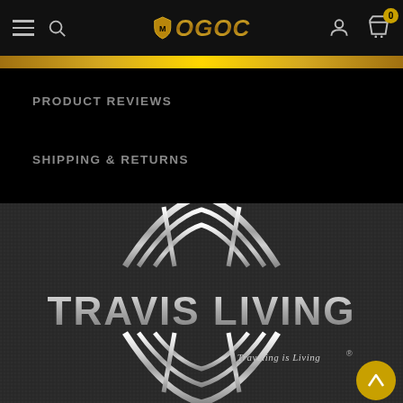OGOC navigation bar with hamburger menu, search, logo, user and cart icons
PRODUCT REVIEWS
SHIPPING & RETURNS
[Figure (logo): Travis Living brand logo — silver metallic globe/grid design with text 'TRAVIS LIVING' and tagline 'Traveling is Living' on dark textured background]